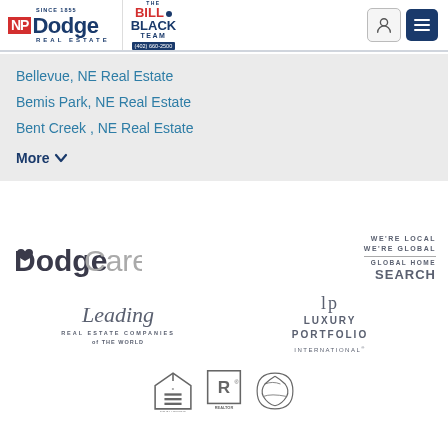NP Dodge Real Estate — Bill Black Team — Since 1855 — (402) 660-2500
Bellevue, NE Real Estate
Bemis Park, NE Real Estate
Bent Creek , NE Real Estate
More
[Figure (logo): DodgeCares logo — bold dark text 'Dodge' with a heart icon, lighter text 'Cares']
[Figure (logo): We're Local We're Global — Global Home Search logo in slate gray]
[Figure (logo): Leading Real Estate Companies of The World logo — script 'Leading' with sans-serif subtitle]
[Figure (logo): Luxury Portfolio International logo — LP symbol and text]
[Figure (logo): Equal Housing Opportunity, REALTOR, and Certified Residential Specialist badges]